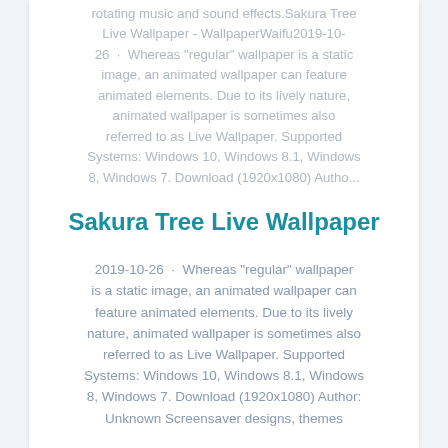rotating music and sound effects.Sakura Tree Live Wallpaper - WallpaperWaifu2019-10-26 · Whereas "regular" wallpaper is a static image, an animated wallpaper can feature animated elements. Due to its lively nature, animated wallpaper is sometimes also referred to as Live Wallpaper. Supported Systems: Windows 10, Windows 8.1, Windows 8, Windows 7. Download (1920x1080) Autho...
Sakura Tree Live Wallpaper
2019-10-26 · Whereas "regular" wallpaper is a static image, an animated wallpaper can feature animated elements. Due to its lively nature, animated wallpaper is sometimes also referred to as Live Wallpaper. Supported Systems: Windows 10, Windows 8.1, Windows 8, Windows 7. Download (1920x1080) Author: Unknown Screensaver designs, themes